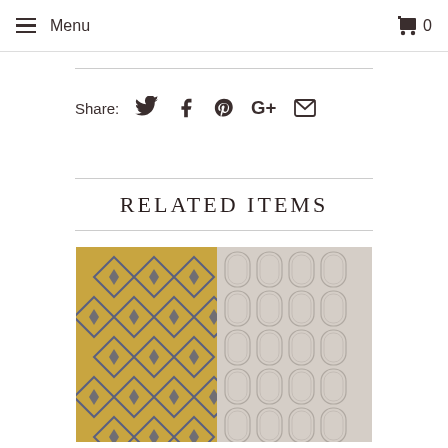Menu  0
Share:
RELATED ITEMS
[Figure (photo): Yellow/gold rug with dark diamond geometric pattern]
[Figure (photo): Beige/cream rug with trellis/lattice geometric pattern]